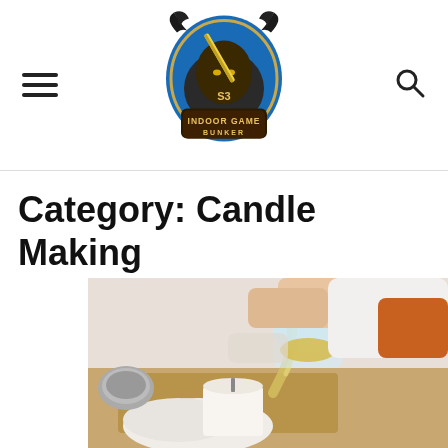Indoor Game Bunker — site header with logo, hamburger menu, and search icon
Category: Candle Making
[Figure (photo): A person pouring melted wax from a glass pitcher into a container on a wooden board, with a cloth and candle-making supplies, for a candle making article.]